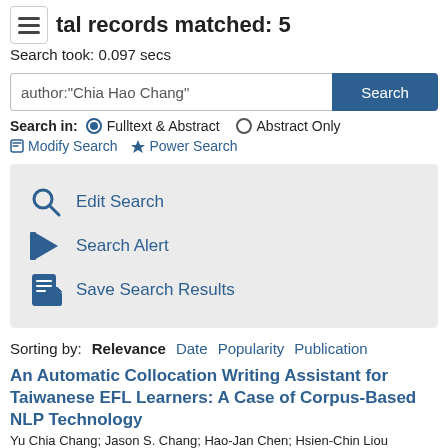tal records matched: 5
Search took: 0.097 secs
author:"Chia Hao Chang"
Search in: Fulltext & Abstract  Abstract Only
Modify Search  Power Search
Edit Search
Search Alert
Save Search Results
Sorting by: Relevance  Date  Popularity  Publication
An Automatic Collocation Writing Assistant for Taiwanese EFL Learners: A Case of Corpus-Based NLP Technology
Yu Chia Chang; Jason S. Chang; Hao-Jan Chen; Hsien-Chin Liou